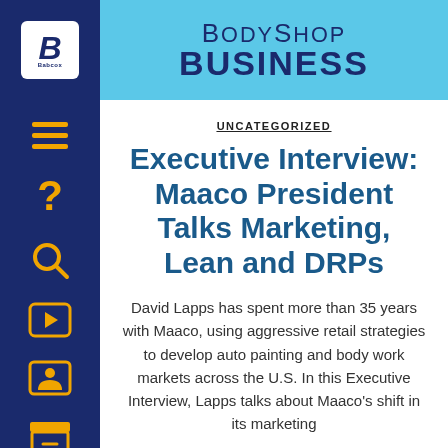BodyShop Business
UNCATEGORIZED
Executive Interview: Maaco President Talks Marketing, Lean and DRPs
David Lapps has spent more than 35 years with Maaco, using aggressive retail strategies to develop auto painting and body work markets across the U.S. In this Executive Interview, Lapps talks about Maaco's shift in its marketing